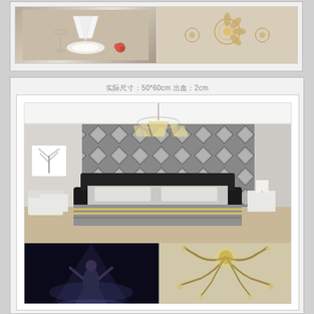[Figure (photo): Two photos side by side in a white-bordered frame: left shows a table setting with white napkins and glassware; right shows decorative metallic floral/crystal ornaments on a table]
实际尺寸：50*60cm  出血：2cm
[Figure (photo): Main large photo of a modern bedroom with a diamond-pattern quilted wall panel in grey/black, a crystal chandelier, black leather bed with grey bedding, white armchair on left, bedside tables. Below are two smaller photos: left shows a woman in a spotlight pose in dark setting, right shows a decorative antler-style ceiling light fixture.]